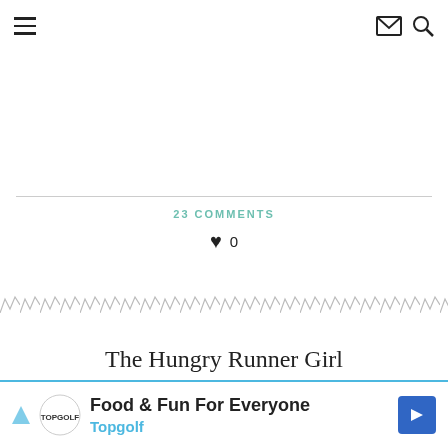Navigation header with hamburger menu, email icon, and search icon
23 COMMENTS
[Figure (other): Heart/like icon with count 0]
[Figure (other): Decorative zigzag/chevron divider pattern]
The Hungry Runner Girl
[Figure (other): Advertisement banner: Food & Fun For Everyone - Topgolf]